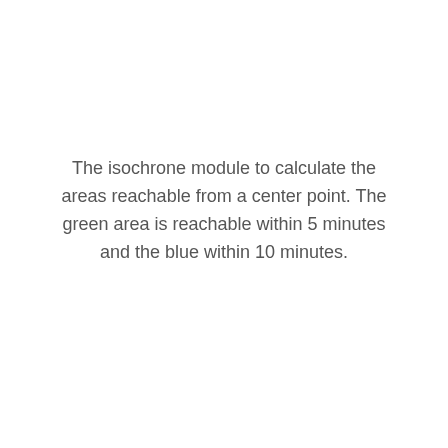The isochrone module to calculate the areas reachable from a center point. The green area is reachable within 5 minutes and the blue within 10 minutes.